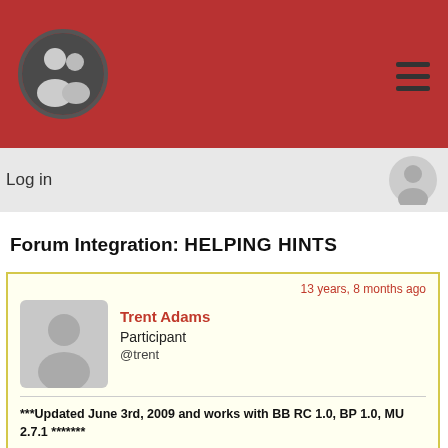[Figure (logo): Site header with red background, circular user group logo icon on left, hamburger menu icon on right]
Log in
Forum Integration: HELPING HINTS
13 years, 8 months ago
Trent Adams
Participant
@trent
***Updated June 3rd, 2009 and works with BB RC 1.0, BP 1.0, MU 2.7.1 *******

I notice that this forum thing is really not that easy for everyone to put in place and I had to do it several times myself to get it working properly. What worked on one server didn't work as planned on another one. Strange, but I thought I would write this to see if it helps anyone out.

Integration Assumptions: